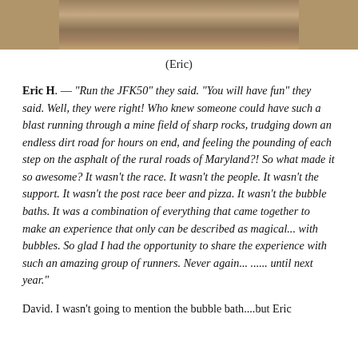[Figure (photo): Partial photo of a person or people outdoors, cropped at top of page]
(Eric)
Eric H. — "Run the JFK50" they said. "You will have fun" they said. Well, they were right! Who knew someone could have such a blast running through a mine field of sharp rocks, trudging down an endless dirt road for hours on end, and feeling the pounding of each step on the asphalt of the rural roads of Maryland?! So what made it so awesome? It wasn't the race. It wasn't the people. It wasn't the support. It wasn't the post race beer and pizza. It wasn't the bubble baths. It was a combination of everything that came together to make an experience that only can be described as magical... with bubbles. So glad I had the opportunity to share the experience with such an amazing group of runners. Never again... ...... until next year."
David. I wasn't going to mention the bubble bath....but Eric